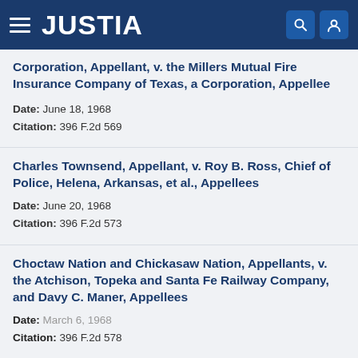JUSTIA
Corporation, Appellant, v. the Millers Mutual Fire Insurance Company of Texas, a Corporation, Appellee
Date: June 18, 1968
Citation: 396 F.2d 569
Charles Townsend, Appellant, v. Roy B. Ross, Chief of Police, Helena, Arkansas, et al., Appellees
Date: June 20, 1968
Citation: 396 F.2d 573
Choctaw Nation and Chickasaw Nation, Appellants, v. the Atchison, Topeka and Santa Fe Railway Company, and Davy C. Maner, Appellees
Date: March 6, 1968
Citation: 396 F.2d 578